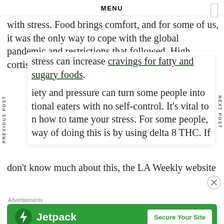MENU
with stress. Food brings comfort, and for some of us, it was the only way to cope with the global pandemic and restrictions that followed. High cortisol levels from stress can increase cravings for fatty and sugary foods.
Anxiety and pressure can turn some people into emotional eaters with no self-control. It's vital to learn how to tame your stress. For some people, one way of doing this is by using delta 8 THC. If you don't know much about this, the LA Weekly website
Advertisements
[Figure (other): Jetpack advertisement banner with green background, Jetpack logo and icon on the left, and a 'Secure Your Site' button on the right]